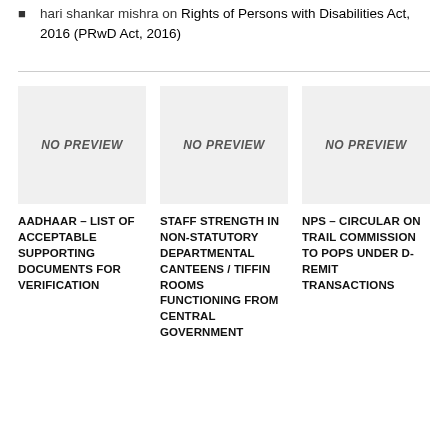hari shankar mishra on Rights of Persons with Disabilities Act, 2016 (PRwD Act, 2016)
[Figure (other): No preview image placeholder - gray box with NO PREVIEW text]
[Figure (other): No preview image placeholder - gray box with NO PREVIEW text]
[Figure (other): No preview image placeholder - gray box with NO PREVIEW text]
AADHAAR – LIST OF ACCEPTABLE SUPPORTING DOCUMENTS FOR VERIFICATION
STAFF STRENGTH IN NON-STATUTORY DEPARTMENTAL CANTEENS / TIFFIN ROOMS FUNCTIONING FROM CENTRAL GOVERNMENT
NPS – CIRCULAR ON TRAIL COMMISSION TO POPS UNDER D-REMIT TRANSACTIONS